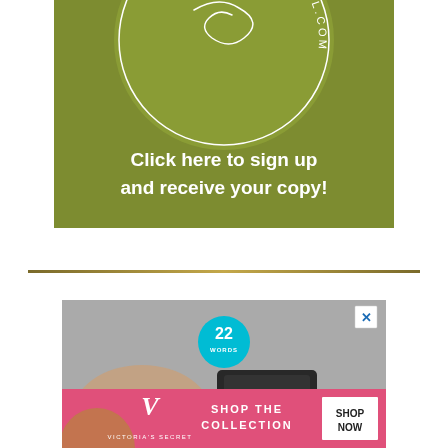[Figure (advertisement): Olive/khaki green square advertisement for Linda Merrill with a circular logo at the top showing 'www.lindamerrill.com' in white text, and lower text reading 'Click here to sign up and receive your copy!']
[Figure (advertisement): Website advertisement with '22 Words' cyan badge/logo in center, a hand holding a phone in the background, a white X close button in top right, and 'CLOSE' button in bottom right]
[Figure (advertisement): Victoria's Secret pink banner advertisement showing 'SHOP THE COLLECTION' with 'SHOP NOW' white button and Victoria's Secret script logo]